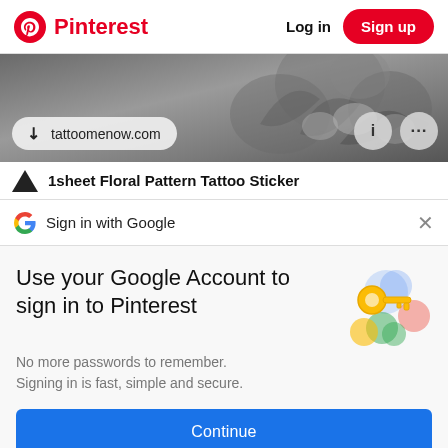Pinterest   Log in   Sign up
[Figure (screenshot): Grayscale floral tattoo image banner with a URL pill showing 'tattoomenow.com' and two circular icon buttons (info 'i' and more '...')]
1sheet Floral Pattern Tattoo Sticker
Sign in with Google
Use your Google Account to sign in to Pinterest
No more passwords to remember.
Signing in is fast, simple and secure.
[Figure (illustration): Google key illustration with colorful circular shapes and a golden key]
Continue